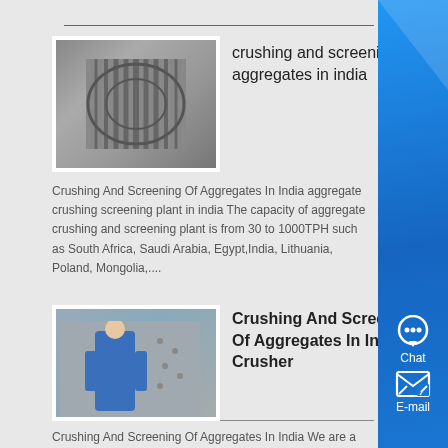[Figure (photo): Industrial machinery interior showing metal fins or blades]
crushing and screening of aggregates in india
Crushing And Screening Of Aggregates In India aggregate crushing screening plant in india The capacity of aggregate crushing and screening plant is from 30 to 1000TPH such as South Africa, Saudi Arabia, Egypt,India, Lithuania, Poland, Mongolia,....
Know More
[Figure (photo): Worker in blue uniform working on equipment or wall]
Crushing And Screening Of Aggregates In India -Crusher
Crushing And Screening Of Aggregates In India We are a professional mining machinery manufacturer, the main equipment including: jaw